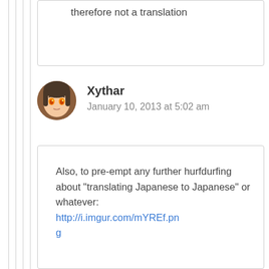therefore not a translation
Xythar
January 10, 2013 at 5:02 am
Also, to pre-empt any further hurfdurfing about “translating Japanese to Japanese” or whatever: http://i.imgur.com/mYREf.png
Localisation can mean changing the setting of the